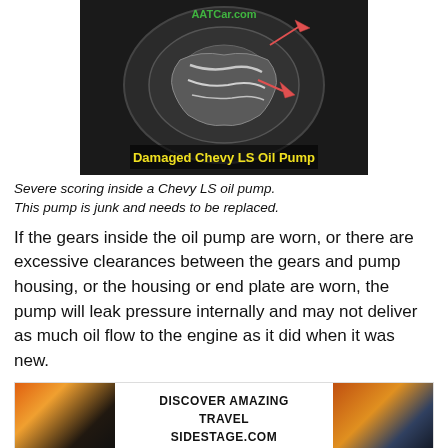[Figure (photo): Damaged Chevy LS oil pump with severe internal scoring. Dark image showing metal pump interior with pink/red arrows pointing to damage. Text 'AATCar.com' in green at top and 'Damaged Chevy LS Oil Pump' in yellow at bottom.]
Severe scoring inside a Chevy LS oil pump. This pump is junk and needs to be replaced.
If the gears inside the oil pump are worn, or there are excessive clearances between the gears and pump housing, or the housing or end plate are worn, the pump will leak pressure internally and may not deliver as much oil flow to the engine as it did when it was new.
[Figure (infographic): Advertisement banner: two landscape sunset photos flanking center text 'DISCOVER AMAZING TRAVEL SIDESTAGE.COM' in bold black uppercase.]
The
[Figure (infographic): Advertisement overlay showing 'cm' logo in blue square, checkmarks for 'In-store shopping', 'Curbside pickup', 'Delivery', and a blue navigation/directions diamond icon on right.]